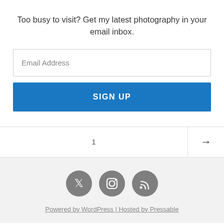Too busy to visit? Get my latest photography in your email inbox.
Email Address
SIGN UP
1
[Figure (infographic): Social media icons: Twitter, Instagram, RSS feed]
Powered by WordPress | Hosted by Pressable